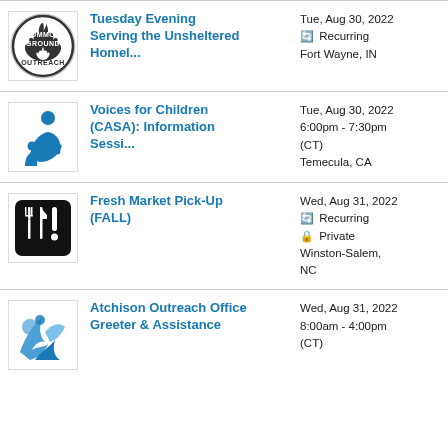[Figure (logo): Common Ground Outreach logo - circular black and white logo with flame icon]
Tuesday Evening Serving the Unsheltered Homel...
Tue, Aug 30, 2022
Recurring
Fort Wayne, IN
[Figure (logo): Voices for Children (CASA) logo - blue figure with child]
Voices for Children (CASA): Information Sessi...
Tue, Aug 30, 2022
6:00pm - 7:30pm (CT)
Temecula, CA
[Figure (logo): Fresh Market Pick-Up logo - black square with white fork, knife, and exclamation mark]
Fresh Market Pick-Up (FALL)
Wed, Aug 31, 2022
Recurring
Private
Winston-Salem, NC
[Figure (logo): Atchison Outreach Office logo - blue decorative design]
Atchison Outreach Office Greeter & Assistance
Wed, Aug 31, 2022
8:00am - 4:00pm (CT)